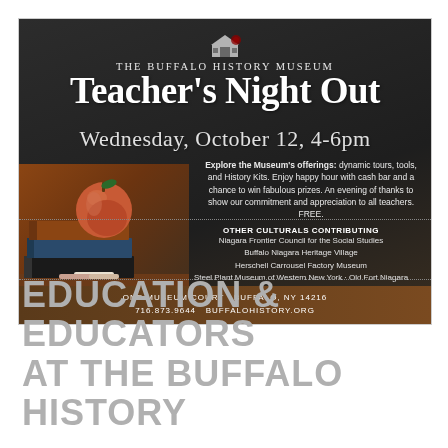[Figure (infographic): Event flyer for Teacher's Night Out at The Buffalo History Museum on dark chalkboard background with apple and books photo. Shows event details, contributing organizations, and contact information.]
EDUCATION & EDUCATORS AT THE BUFFALO HISTORY